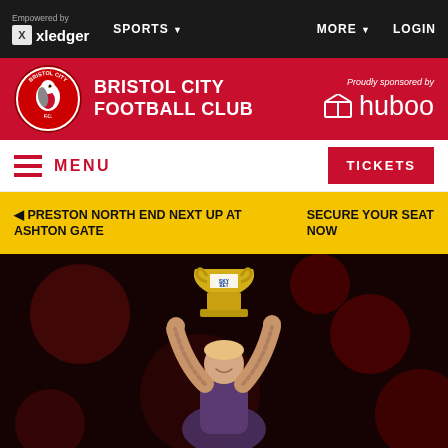Empowered by xledger | SPORTS | MORE | LOGIN
[Figure (logo): Bristol City Football Club red header with club crest and huboo sponsor logo]
BRISTOL CITY FOOTBALL CLUB
Proudly sponsored by huboo
MENU  TICKETS
⬅ PRESTON NORTH END NEXT UP AT ASHTON GATE   SECURE YOUR SEAT NOW
[Figure (photo): A footballer holding a Sky Bet trophy aloft, smiling, heavily tattooed arms, dark background with red bokeh]